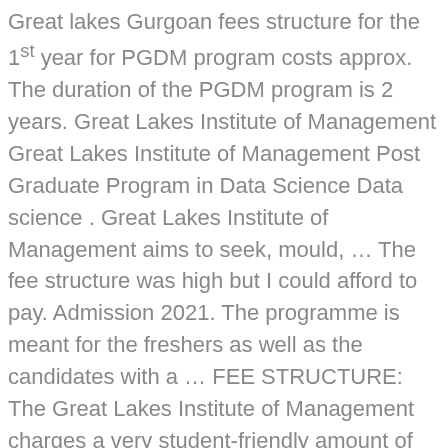Great lakes Gurgoan fees structure for the 1st year for PGDM program costs approx. The duration of the PGDM program is 2 years. Great Lakes Institute of Management Great Lakes Institute of Management Post Graduate Program in Data Science Data science . Great Lakes Institute of Management aims to seek, mould, … The fee structure was high but I could afford to pay. Admission 2021. The programme is meant for the freshers as well as the candidates with a … FEE STRUCTURE: The Great Lakes Institute of Management charges a very student-friendly amount of fees from the students for the Executive MBA program. Great lakes Gurgaon PGDM fees per year costs approx. Dear Student, Great Lakes Institute of Management (GLIM), Chennai is a private autonomous institute and does not offer any reservations under any category including sports.The institute also has a 100% merit-based admission process and does not reserve seats under management quota. Great Lakes Institute of Management has tied up with many banks like Axis and